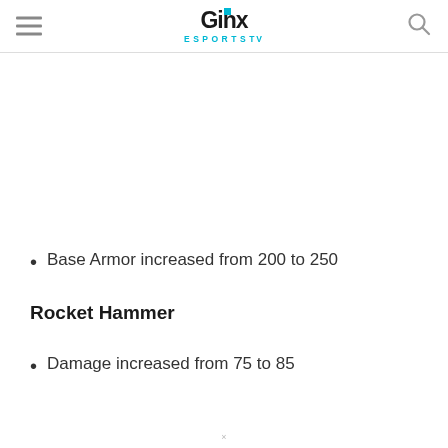GINX ESPORTS TV
Base Armor increased from 200 to 250
Rocket Hammer
Damage increased from 75 to 85